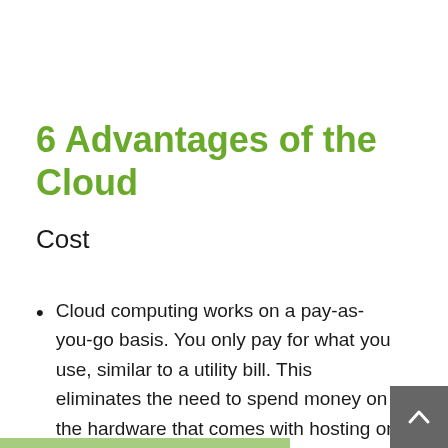6 Advantages of the Cloud
Cost
Cloud computing works on a pay-as-you-go basis. You only pay for what you use, similar to a utility bill. This eliminates the need to spend money on the hardware that comes with hosting on a server. And, instead of worrying about servers, you’ll be able to focus on your business.